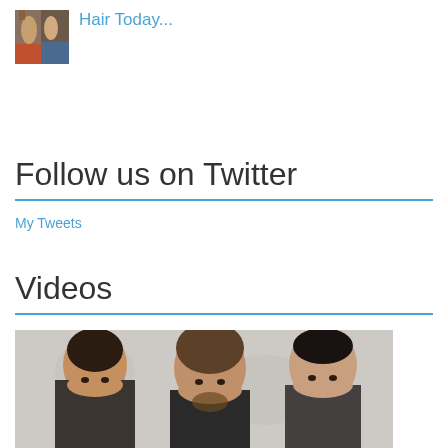[Figure (photo): Small thumbnail image showing figures, appears to be a group photo or artwork]
Hair Today...
Follow us on Twitter
My Tweets
Videos
[Figure (photo): Photo of three men with medium-length hair posed against a light textured wall]